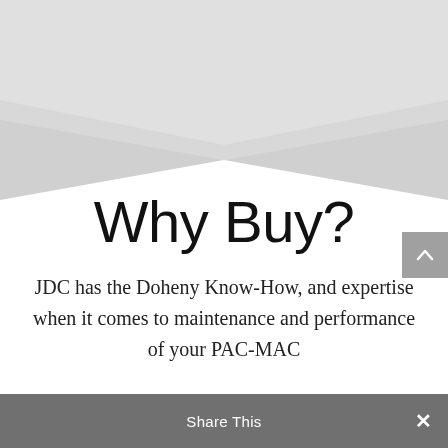[Figure (illustration): Gray chevron/arrow pointing downward against white background, decorative hero image at top of page]
Why Buy?
JDC has the Doheny Know-How, and expertise when it comes to maintenance and performance of your PAC-MAC
Share This ×